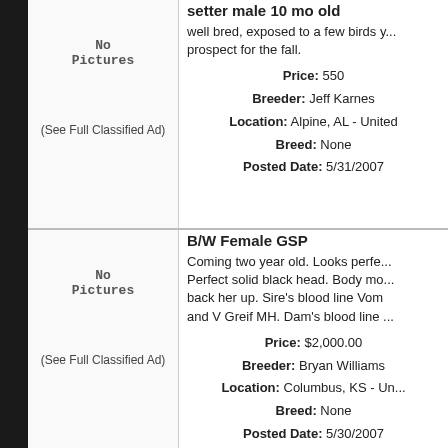setter male 10 mo old
well bred, exposed to a few birds y... prospect for the fall.
Price: 550
Breeder: Jeff Karnes
Location: Alpine, AL - United
Breed: None
Posted Date: 5/31/2007
[Figure (other): No Pictures placeholder with (See Full Classified Ad) link]
B/W Female GSP
Coming two year old. Looks perfe... Perfect solid black head. Body mo... back her up. Sire's blood line Vom and V Greif MH. Dam's blood line ...
Price: $2,000.00
Breeder: Bryan Williams
Location: Columbus, KS - Un...
Breed: None
Posted Date: 5/30/2007
[Figure (other): No Pictures placeholder with (See Full Classified Ad) link]